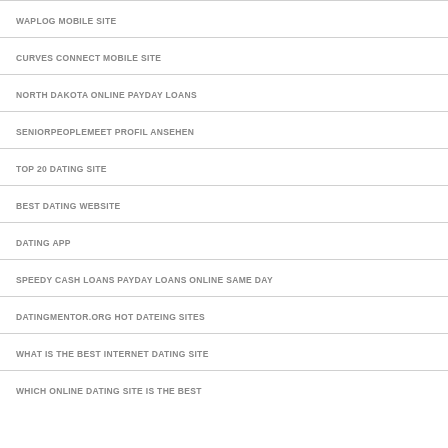WAPLOG MOBILE SITE
CURVES CONNECT MOBILE SITE
NORTH DAKOTA ONLINE PAYDAY LOANS
SENIORPEOPLEMEET PROFIL ANSEHEN
TOP 20 DATING SITE
BEST DATING WEBSITE
DATING APP
SPEEDY CASH LOANS PAYDAY LOANS ONLINE SAME DAY
DATINGMENTOR.ORG HOT DATEING SITES
WHAT IS THE BEST INTERNET DATING SITE
WHICH ONLINE DATING SITE IS THE BEST